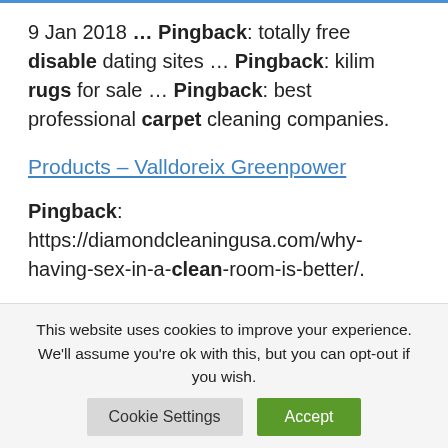9 Jan 2018 … Pingback: totally free disable dating sites … Pingback: kilim rugs for sale … Pingback: best professional carpet cleaning companies.
Products – Valldoreix Greenpower
Pingback: https://diamondcleaningusa.com/why-having-sex-in-a-clean-room-is-better/.
This website uses cookies to improve your experience. We'll assume you're ok with this, but you can opt-out if you wish.